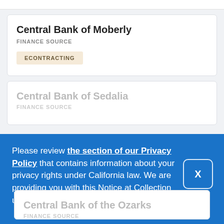Central Bank of Moberly
FINANCE SOURCE
ECONTRACTING
Central Bank of Sedalia
FINANCE SOURCE
Please review the section of our Privacy Policy that contains information about your privacy rights under California law. We are providing you with this Notice at Collection under the California Consumer Privacy Act.
Central Bank of the Ozarks
FINANCE SOURCE